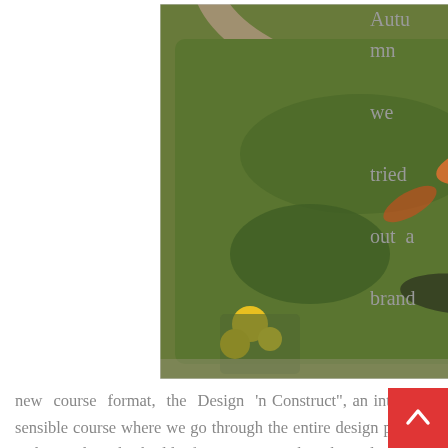[Figure (photo): Aerial/overhead view of a garden koi pond with green algae-covered water, orange koi fish visible beneath the surface, surrounded by stone/brick edging. Yellow flowers in a pot visible in the lower left corner.]
Autumn we tried out a brand new course format, the Design 'n Construct", an intensive sensible course where we go through the entire design process and complete the build of a mission within three days. The covenant that is almost certainly to alarm a potential self builder is a blanket restrictive covenant prohibiting any type of improvement of the backyard or specifically excluding the constructing of